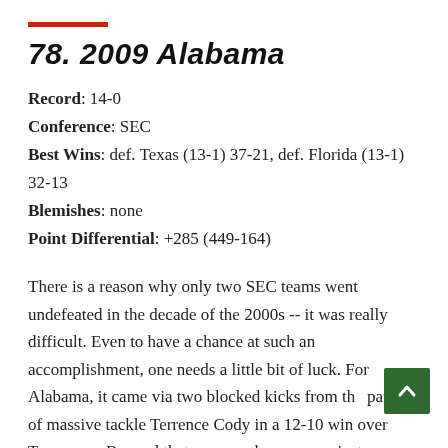78. 2009 Alabama
Record: 14-0
Conference: SEC
Best Wins: def. Texas (13-1) 37-21, def. Florida (13-1) 32-13
Blemishes: none
Point Differential: +285 (449-164)
There is a reason why only two SEC teams went undefeated in the decade of the 2000s -- it was really difficult. Even to have a chance at such an accomplishment, one needs a little bit of luck. For Alabama, it came via two blocked kicks from the paws of massive tackle Terrence Cody in a 12-10 win over Tennessee. Beyond that game and a scare against Auburn, Alabama was simply better than everybody they faced in 2009. They beat a defense-